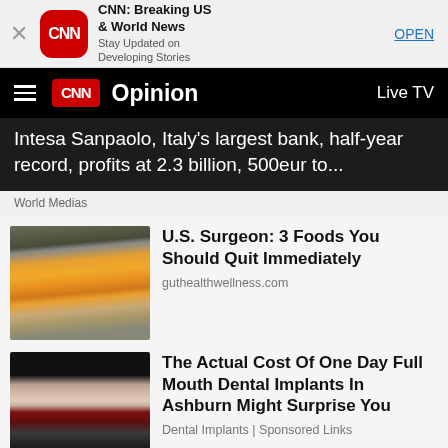[Figure (screenshot): CNN app banner with red CNN icon, app title, subtitle and OPEN button]
CNN Opinion  Live TV
Intesa Sanpaolo, Italy's largest bank, half-year record, profits at 2.3 billion, 500eur to...
World Medias
[Figure (photo): Fried eggs with bright orange yolks on a pan]
U.S. Surgeon: 3 Foods You Should Quit Immediately
guthealthwellness.com
[Figure (photo): Dental implants model showing teeth and implant posts]
The Actual Cost Of One Day Full Mouth Dental Implants In Ashburn Might Surprise You
Dental Implants | Sponsored Links